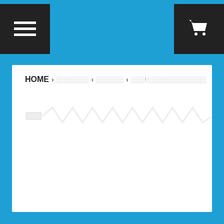Navigation header with menu button and cart button
HOME > ░░░░░░░ > ░░░░░░ > ░░░!░░░░░░░░░░░░░
[Figure (illustration): A faint zigzag/spiral product image placeholder in light gray tones spanning the width of the content area]